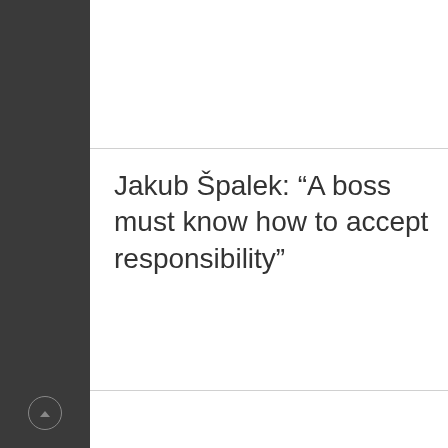Jakub Špalek: “A boss must know how to accept responsibility”